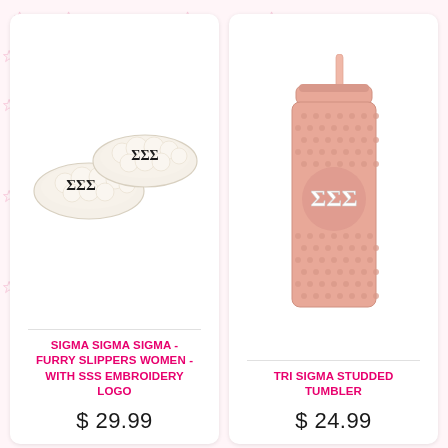[Figure (photo): White furry slippers with ΣΣΣ (Sigma Sigma Sigma) embroidery logo in black]
SIGMA SIGMA SIGMA - FURRY SLIPPERS WOMEN - WITH SSS EMBROIDERY LOGO
$ 29.99
[Figure (photo): Pink studded tumbler cup with straw and ΣΣΣ (Sigma Sigma Sigma) white logo on front]
TRI SIGMA STUDDED TUMBLER
$ 24.99